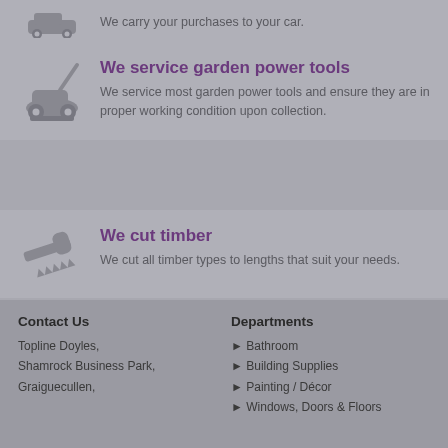[Figure (illustration): Car/vehicle icon (grayscale), carry to car service]
We carry your purchases to your car.
[Figure (illustration): Lawn mower icon (grayscale), garden power tools service]
We service garden power tools
We service most garden power tools and ensure they are in proper working condition upon collection.
[Figure (illustration): Hand saw icon (grayscale), timber cutting service]
We cut timber
We cut all timber types to lengths that suit your needs.
[Figure (illustration): Bathtub/shower icon (grayscale), bathroom design service]
We design bathrooms
We offer a bathroom design and advice service to suit your requirements, style and budget.
Contact Us
Topline Doyles, Shamrock Business Park, Graiguecullen,
Departments
Bathroom
Building Supplies
Painting / Décor
Windows, Doors & Floors